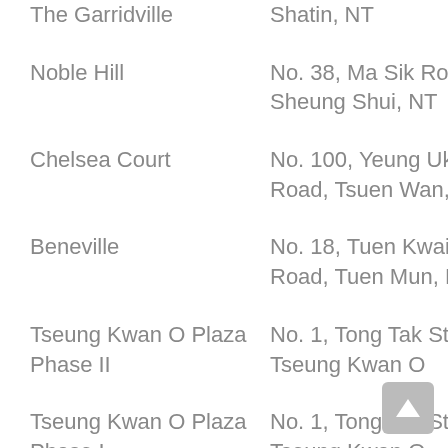| Property | Address |
| --- | --- |
| The Garridville | Shatin, NT |
| Noble Hill | No. 38, Ma Sik Road, Sheung Shui, NT |
| Chelsea Court | No. 100, Yeung Uk Road, Tsuen Wan, NT |
| Beneville | No. 18, Tuen Kwai Road, Tuen Mun, NT |
| Tseung Kwan O Plaza Phase II | No. 1, Tong Tak St, Tseung Kwan O |
| Tseung Kwan O Plaza Phase I | No. 1, Tong Tak St, Tseung Kwan O |
| Cheerful Court(HKHA | Jordan Valley Nor... |